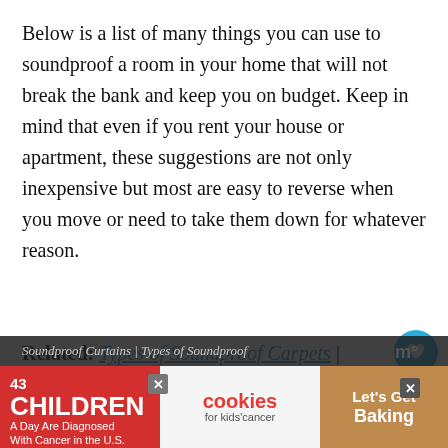Below is a list of many things you can use to soundproof a room in your home that will not break the bank and keep you on budget. Keep in mind that even if you rent your house or apartment, these suggestions are not only inexpensive but most are easy to reverse when you move or need to take them down for whatever reason.
Related: Types of Soundproof Carpets | Types of Soundproof Flooring | Types of Soundproof Curtains | Types of Soundproof...
[Figure (other): Advertisement banner: '43 CHILDREN A Day Are Diagnosed With Cancer in the U.S.' with cookies for kids' cancer logo and 'Let's Get Baking' text]